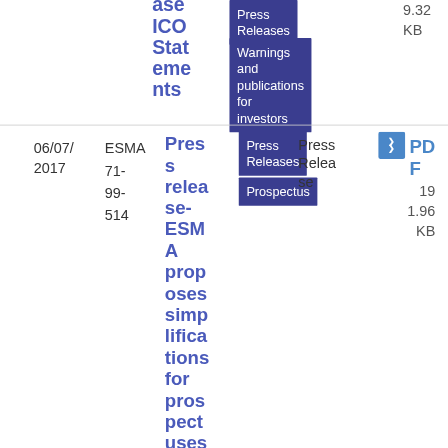ase ICO Statements
Press Releases
9.32 KB
Warnings and publications for investors
06/07/2017
ESMA71-99-514
Press release- ESMA proposes simplifications for prospectuses
Press Releases
Prospectus
Press Release
PDF
191.96 KB